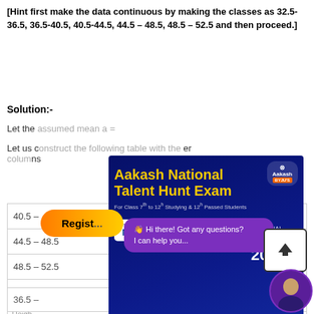[Hint first make the data continuous by making the classes as 32.5-36.5, 36.5-40.5, 40.5-44.5, 44.5 – 48.5, 48.5 – 52.5 and then proceed.]
Solution:-
Let the assumed mean a =
Let us construct the following table. (fi, xi, ui, yi columns)
[Figure (infographic): Aakash National Talent Hunt Exam advertisement overlay. Blue background. Title: Aakash National Talent Hunt Exam. For Class 7th to 12th Studying & 12th Passed Students. NASA partnership logo. Up to 100% Scholarship. ANTHE 2022. Registrations Open.]
| Height (in cm) | No. of students | xi | yi = (xi - a)/h |
| --- | --- | --- | --- |
| 32.5 – 36.5 |  | 34.5 | -2 |
| 36.5 –  |  |  |  |
| 40.5 –  |  |  |  |
| 44.5 – 48.5 | 22 | 46.5 | 1 |
| 48.5 – 52.5 | 25 | 50.5 | 2 |